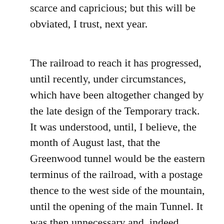scarce and capricious; but this will be obviated, I trust, next year.
The railroad to reach it has progressed, until recently, under circumstances, which have been altogether changed by the late design of the Temporary track. It was understood, until, I believe, the month of August last, that the Greenwood tunnel would be the eastern terminus of the railroad, with a postage thence to the west side of the mountain, until the opening of the main Tunnel. It was then unnecessary and, indeed, inexpedient, to burden, so far in advance, the treasury with the cost of worth that could not be used, until the tunnel was finished. It was my duty to take this view of the question. I was